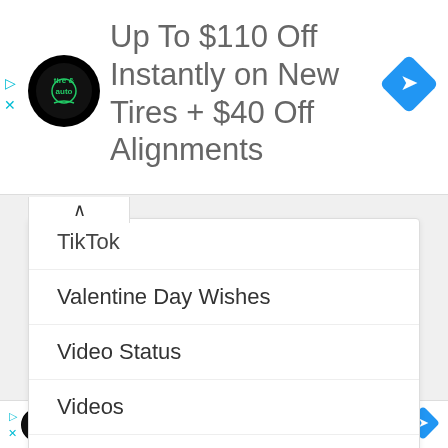[Figure (screenshot): Firestone Tire & Auto ad banner at top with logo, text 'Up To $110 Off Instantly on New Tires + $40 Off Alignments', and blue diamond arrow icon. Ad controls (triangle/X) on left.]
TikTok
Valentine Day Wishes
Video Status
Videos
Whatsapp Status
[Figure (screenshot): Video thumbnail for 'Top 10 Best Trending & Viral Ins...' with IMGstatus branding, pink logo circle, orange Instagram text bar, close button, and vertical dots menu.]
[Figure (screenshot): Bottom ad bar: Firestone Get Up To $110 Off a Set of 4 Select Firestone Tires with logo and blue diamond arrow.]